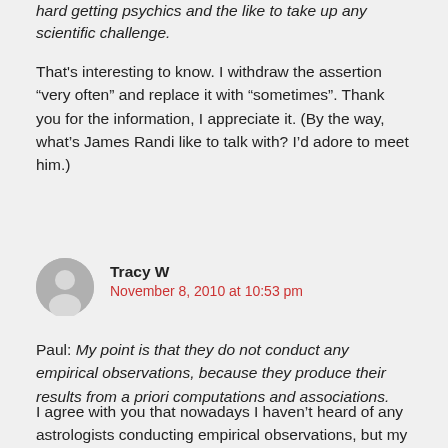hard getting psychics and the like to take up any scientific challenge.
That's interesting to know. I withdraw the assertion “very often” and replace it with “sometimes”. Thank you for the information, I appreciate it. (By the way, what’s James Randi like to talk with? I’d adore to meet him.)
Tracy W
November 8, 2010 at 10:53 pm
Paul: My point is that they do not conduct any empirical observations, because they produce their results from a priori computations and associations.
I agree with you that nowadays I haven’t heard of any astrologists conducting empirical observations, but my understanding was that Kepler both conducted empirical